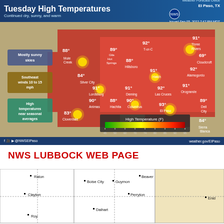[Figure (map): NWS El Paso weather forecast map showing Tuesday High Temperatures across southern New Mexico and west Texas. Color-coded temperature map ranging from green/yellow (cooler) to red (hotter). Shows temperatures for various cities including El Paso 93°, Las Cruces 92°, Deming 91°, Lordsburg 91°, Silver City 84°, Cloverdale 83°, Animas 90°, Columbus 90°, Hachita 88°, Mule Creek 88°, Hillsboro 91°, Hatch 92°, T-or-C 92°, Gila Hot Springs 89°, Three Rivers 91°, Cloudcroft 69°, Alamogordo 92°, Orogrande 91°, Dell City 89°, Sierra Blanca 84°, Enid (on second map). Legend shows High Temperature (F) color scale. Conditions: Mostly sunny skies, Southeast winds 10 to 15 mph, High temperatures near seasonal averages. Issued Sep 05, 2022 7:47 PM MDT.]
NWS LUBBOCK WEB PAGE
[Figure (map): NWS Lubbock area forecast map showing cities including Raton, Clayton, Boise City, Guymon, Beaver, Perryton, Dalhart, and Enid across parts of New Mexico, Texas, Oklahoma, and Kansas.]